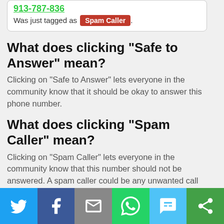[Figure (screenshot): Phone number 913-787-836 tagged as Spam Caller in a white card]
What does clicking "Safe to Answer" mean?
Clicking on "Safe to Answer" lets everyone in the community know that it should be okay to answer this phone number.
What does clicking "Spam Caller" mean?
Clicking on "Spam Caller" lets everyone in the community know that this number should not be answered. A spam caller could be any unwanted call such as a telemarketer or scammer.
How to Post a Comment?
Simply click here to post a comment. This will bring you to the comment form. Just fill out your name and any information you
[Figure (infographic): Social share bar with Twitter, Facebook, Email, WhatsApp, SMS, and Share icons]